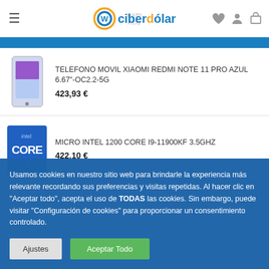ciberdólar — navigation header with hamburger menu and icons
TELEFONO MOVIL XIAOMI REDMI NOTE 11 PRO AZUL 6.67"-OC2.2-5G — 423,93 €
MICRO INTEL 1200 CORE I9-11900KF 3.5GHZ — 422,10 €
Usamos cookies en nuestro sitio web para brindarle la experiencia más relevante recordando sus preferencias y visitas repetidas. Al hacer clic en "Aceptar todo", acepta el uso de TODAS las cookies. Sin embargo, puede visitar "Configuración de cookies" para proporcionar un consentimiento controlado.